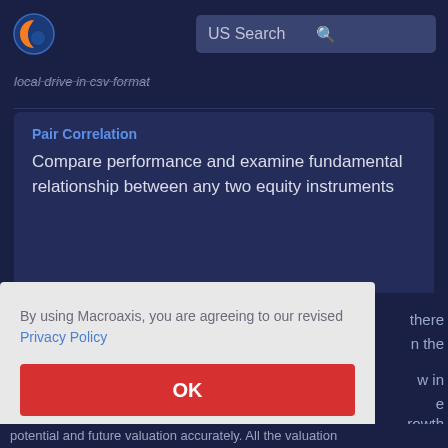US Search
local drive in csv format
Pair Correlation
Compare performance and examine fundamental relationship between any two equity instruments
By using Macroaxis, you are agreeing to our revised Privacy Policy
OK
potential and future valuation accurately. All the valuation